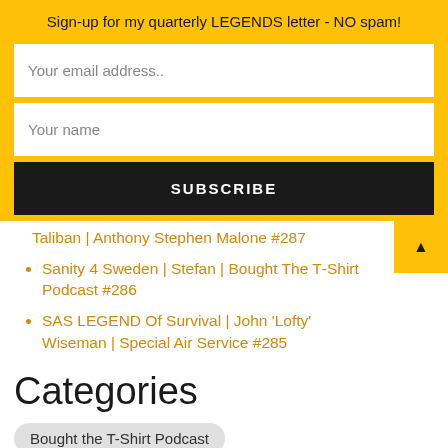Sign-up for my quarterly LEGENDS letter - NO spam!
Your email address..
Your name
SUBSCRIBE
Taliban | Anthony Stephen Malone #287
Sanity 4 Sweden | Stefan | Bought The T-Shirt Podcast #286
SAS LEGEND Of Survival | John 'Lofty' Wiseman | Special Air Service #285
Categories
Bought the T-Shirt Podcast
Chris Thrall Adventurer!